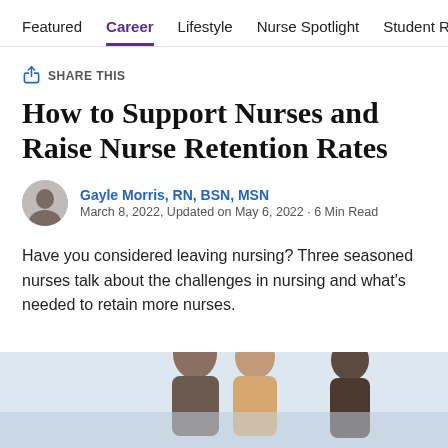Featured  Career  Lifestyle  Nurse Spotlight  Student Resources
SHARE THIS
How to Support Nurses and Raise Nurse Retention Rates
Gayle Morris, RN, BSN, MSN
March 8, 2022, Updated on May 6, 2022 · 6 Min Read
Have you considered leaving nursing? Three seasoned nurses talk about the challenges in nursing and what's needed to retain more nurses.
[Figure (photo): Photo of two or three people, including nurses, partially visible at the bottom of the page]